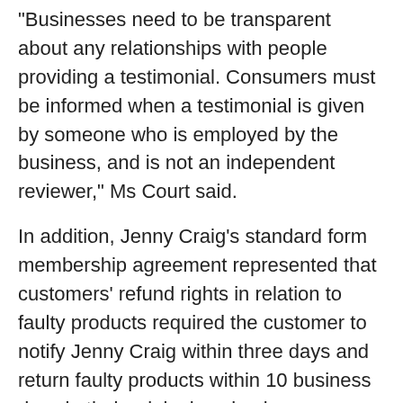“Businesses need to be transparent about any relationships with people providing a testimonial. Consumers must be informed when a testimonial is given by someone who is employed by the business, and is not an independent reviewer,” Ms Court said.
In addition, Jenny Craig’s standard form membership agreement represented that customers’ refund rights in relation to faulty products required the customer to notify Jenny Craig within three days and return faulty products within 10 business days in their original packaging.
“If a product fails to meet the consumer guarantees under the Australian Consumer Law, people are automatically entitled to a remedy, even if they did not comply with the notice and return requirements in the contract,” Ms Court said.